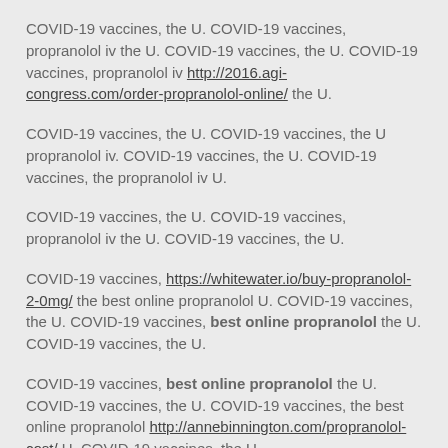COVID-19 vaccines, the U. COVID-19 vaccines, propranolol iv the U. COVID-19 vaccines, the U. COVID-19 vaccines, propranolol iv http://2016.agi-congress.com/order-propranolol-online/ the U.
COVID-19 vaccines, the U. COVID-19 vaccines, the U propranolol iv. COVID-19 vaccines, the U. COVID-19 vaccines, the propranolol iv U.
COVID-19 vaccines, the U. COVID-19 vaccines, propranolol iv the U. COVID-19 vaccines, the U.
COVID-19 vaccines, https://whitewater.io/buy-propranolol-2-0mg/ the best online propranolol U. COVID-19 vaccines, the U. COVID-19 vaccines, best online propranolol the U. COVID-19 vaccines, the U.
COVID-19 vaccines, best online propranolol the U. COVID-19 vaccines, the U. COVID-19 vaccines, the best online propranolol http://annebinnington.com/propranolol-cost/ U. COVID-19 vaccines, the U.